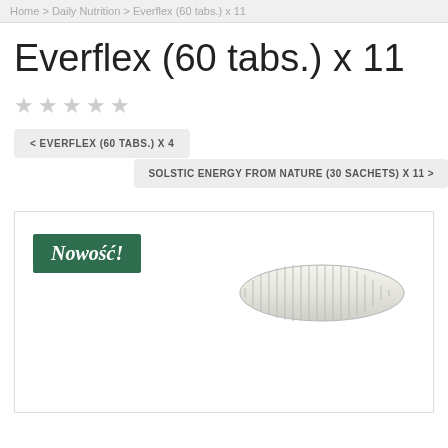Home > Daily Nutrition > Everflex (60 tabs.) x 11
Everflex (60 tabs.) x 11
★ ★ ★ ★ ★
< EVERFLEX (60 TABS.) X 4
SOLSTIC ENERGY FROM NATURE (30 SACHETS) X 11 >
[Figure (photo): Product image showing a bottle cap of Everflex supplement with a green 'Nowość!' (New!) badge in the top-left corner]